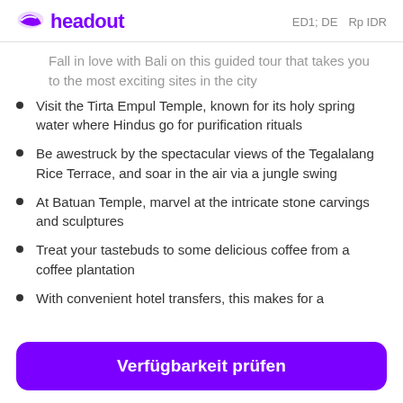headout   DE   Rp IDR
Fall in love with Bali on this guided tour that takes you to the most exciting sites in the city
Visit the Tirta Empul Temple, known for its holy spring water where Hindus go for purification rituals
Be awestruck by the spectacular views of the Tegalalang Rice Terrace, and soar in the air via a jungle swing
At Batuan Temple, marvel at the intricate stone carvings and sculptures
Treat your tastebuds to some delicious coffee from a coffee plantation
With convenient hotel transfers, this makes for a
Verfügbarkeit prüfen